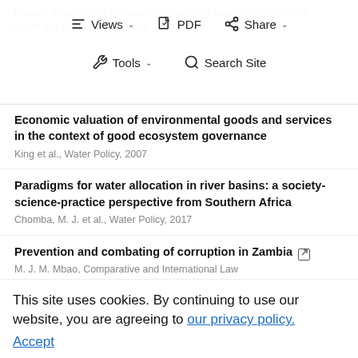Views | PDF | Share | Tools | Search Site
Economic valuation of environmental goods and services in the context of good ecosystem governance
King et al., Water Policy, 2007
Paradigms for water allocation in river basins: a society-science-practice perspective from Southern Africa
Chomba, M. J. et al., Water Policy, 2017
Prevention and combating of corruption in Zambia
M. J. M. Mbao, Comparative and International Law
This site uses cookies. By continuing to use our website, you are agreeing to our privacy policy.
Accept